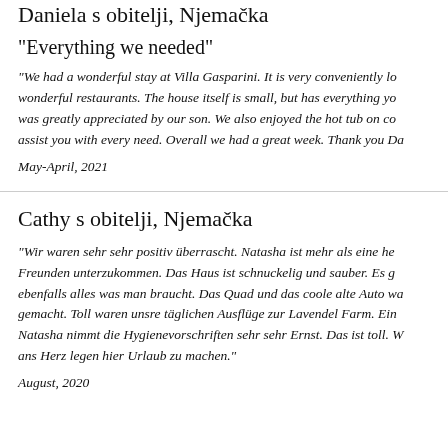Daniela s obitelji, Njemačka
"Everything we needed"
“We had a wonderful stay at Villa Gasparini. It is very conveniently lo… wonderful restaurants. The house itself is small, but has everything yo… was greatly appreciated by our son. We also enjoyed the hot tub on co… assist you with every need. Overall we had a great week. Thank you Da…
May-April, 2021
Cathy s obitelji, Njemačka
“Wir waren sehr sehr positiv überrascht. Natasha ist mehr als eine he… Freunden unterzukommen. Das Haus ist schnuckelig und sauber. Es g… ebenfalls alles was man braucht. Das Quad und das coole alte Auto wa… gemacht. Toll waren unsre täglichen Ausflüge zur Lavendel Farm. Ein… Natasha nimmt die Hygienevorschriften sehr sehr Ernst. Das ist toll. W… ans Herz legen hier Urlaub zu machen.”
August, 2020